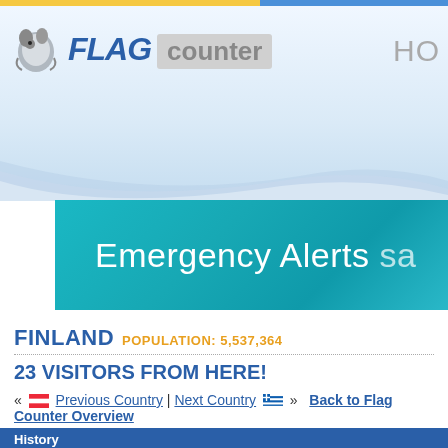[Figure (logo): Flag Counter logo with penguin/bird icon, FLAG in bold blue italic, counter in gray box]
[Figure (screenshot): Advertisement banner: teal/cyan background with text 'Emergency Alerts sa...' in white]
FINLAND POPULATION: 5,537,364
23 VISITORS FROM HERE!
« [Austria flag] Previous Country | Next Country [Greece flag] » Back to Flag Counter Overview
History